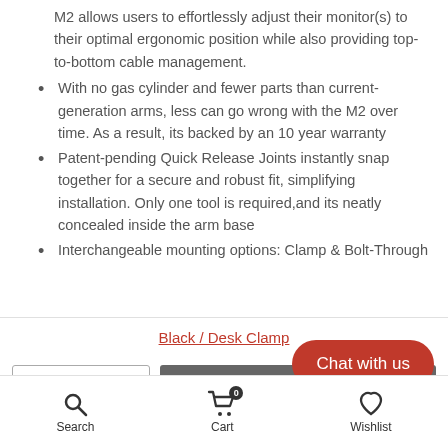M2 allows users to effortlessly adjust their monitor(s) to their optimal ergonomic position while also providing top-to-bottom cable management.
With no gas cylinder and fewer parts than current-generation arms, less can go wrong with the M2 over time. As a result, its backed by an 10 year warranty
Patent-pending Quick Release Joints instantly snap together for a secure and robust fit, simplifying installation. Only one tool is required,and its neatly concealed inside the arm base
Interchangeable mounting options: Clamp & Bolt-Through
Black / Desk Clamp
ADD TO CART
Chat with us
Search  Cart  Wishlist